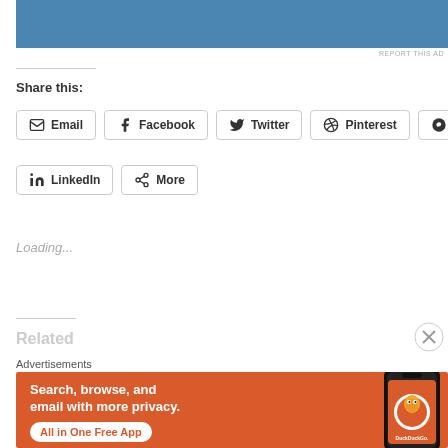[Figure (other): Blue advertisement banner at top of page]
REPORT THIS AD
Share this:
Email
Facebook
Twitter
Pinterest
Reddit
LinkedIn
More
Loading...
Related
Advertisements
[Figure (other): DuckDuckGo advertisement banner with orange background. Text reads: Search, browse, and email with more privacy. All in One Free App. Shows DuckDuckGo logo on a phone.]